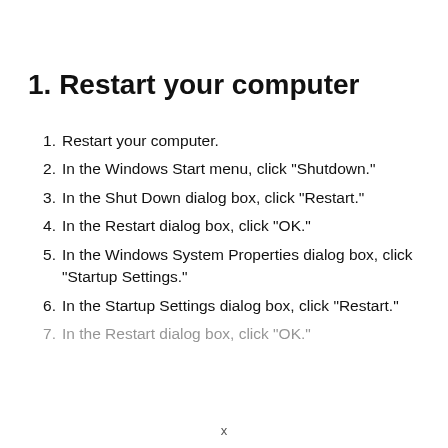1. Restart your computer
Restart your computer.
In the Windows Start menu, click "Shutdown."
In the Shut Down dialog box, click "Restart."
In the Restart dialog box, click "OK."
In the Windows System Properties dialog box, click "Startup Settings."
In the Startup Settings dialog box, click "Restart."
In the Restart dialog box, click "OK."
x